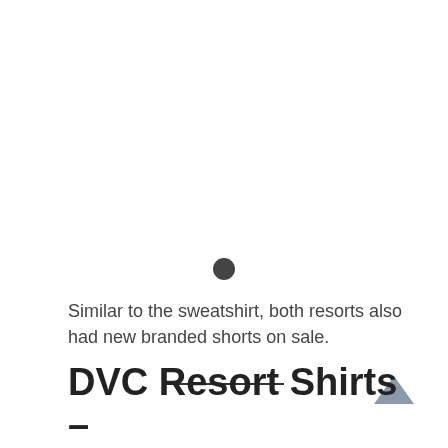[Figure (other): A dark filled circle dot used as a carousel/pagination indicator]
Similar to the sweatshirt, both resorts also had new branded shorts on sale.
DVC Resort Shirts –